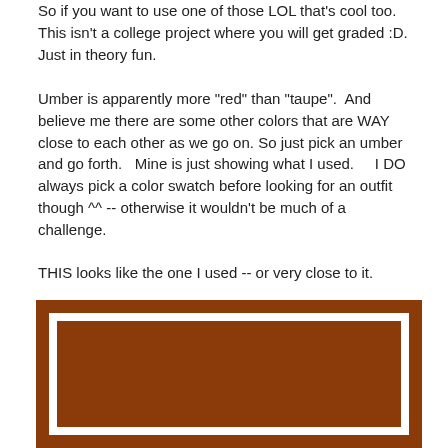So if you want to use one of those LOL that's cool too. This isn't a college project where you will get graded :D.   Just in theory fun.
Umber is apparently more "red" than "taupe".  And believe me there are some other colors that are WAY close to each other as we go on. So just pick an umber and go forth.   Mine is just showing what I used.    I DO always pick a color swatch before looking for an outfit though ^^ -- otherwise it wouldn't be much of a challenge.
THIS looks like the one I used -- or very close to it.
[Figure (illustration): A color swatch showing a deep umber/burnt sienna brown color, displayed as a framed rectangle with a dark brown border and white inner border surrounding a solid umber-colored fill.]